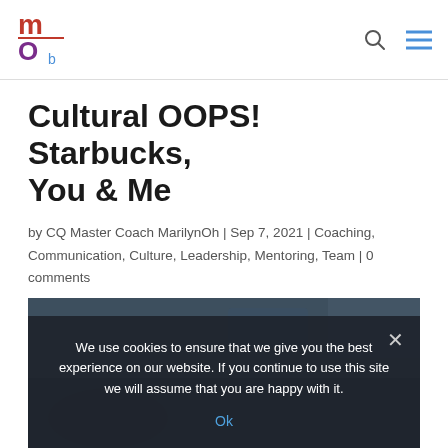MOb logo, search icon, menu icon
Cultural OOPS! Starbucks, You & Me
by CQ Master Coach MarilynOh | Sep 7, 2021 | Coaching, Communication, Culture, Leadership, Mentoring, Team | 0 comments
[Figure (photo): Dark background photo, partially visible, with cookie consent overlay]
We use cookies to ensure that we give you the best experience on our website. If you continue to use this site we will assume that you are happy with it.
Ok